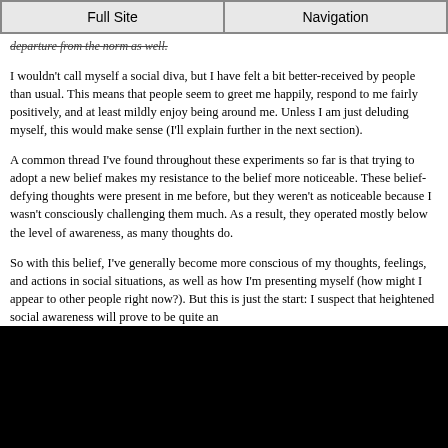Full Site | Navigation
departure from the norm as well.
I wouldn't call myself a social diva, but I have felt a bit better-received by people than usual. This means that people seem to greet me happily, respond to me fairly positively, and at least mildly enjoy being around me. Unless I am just deluding myself, this would make sense (I'll explain further in the next section).
A common thread I've found throughout these experiments so far is that trying to adopt a new belief makes my resistance to the belief more noticeable. These belief-defying thoughts were present in me before, but they weren't as noticeable because I wasn't consciously challenging them much. As a result, they operated mostly below the level of awareness, as many thoughts do.
So with this belief, I've generally become more conscious of my thoughts, feelings, and actions in social situations, as well as how I'm presenting myself (how might I appear to other people right now?). But this is just the start: I suspect that heightened social awareness will prove to be quite an